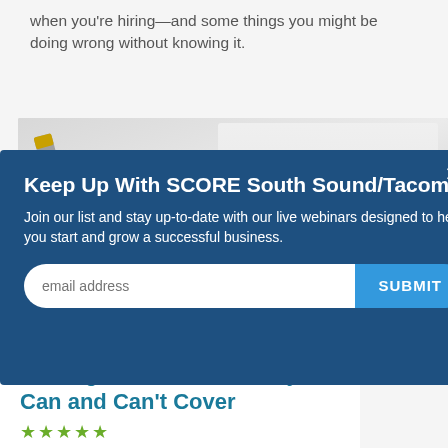when you're hiring—and some things you might be doing wrong without knowing it.
[Figure (photo): Close-up photo of a document with the word APPLICATION partially visible, showing text and form lines on paper with a pen.]
Keep Up With SCORE South Sound/Tacoma
Join our list and stay up-to-date with our live webinars designed to help you start and grow a successful business.
the Legal Line? What They Can and Can't Cover
★★★★★
Article Language: English